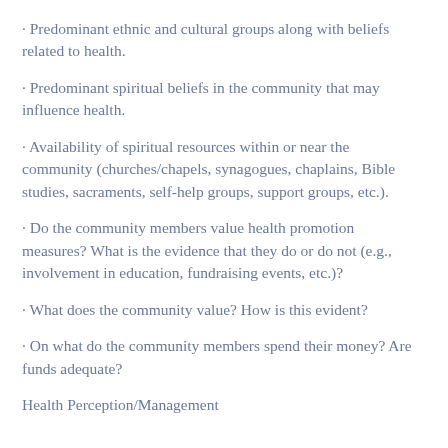· Predominant ethnic and cultural groups along with beliefs related to health.
· Predominant spiritual beliefs in the community that may influence health.
· Availability of spiritual resources within or near the community (churches/chapels, synagogues, chaplains, Bible studies, sacraments, self-help groups, support groups, etc.).
· Do the community members value health promotion measures? What is the evidence that they do or do not (e.g., involvement in education, fundraising events, etc.)?
· What does the community value? How is this evident?
· On what do the community members spend their money? Are funds adequate?
Health Perception/Management